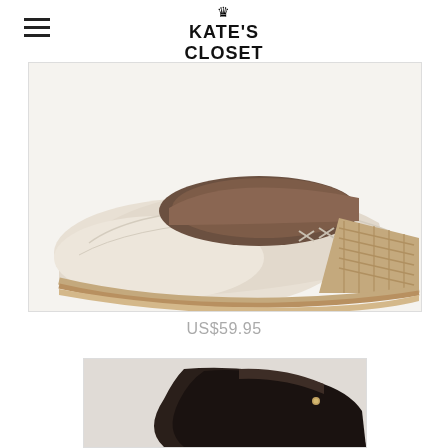KATE'S CLOSET
[Figure (photo): Close-up of a beige/cream canvas espadrille wedge shoe with woven jute heel on white background]
US$59.95
[Figure (photo): Partial view of dark brown/black leather shoe on light background]